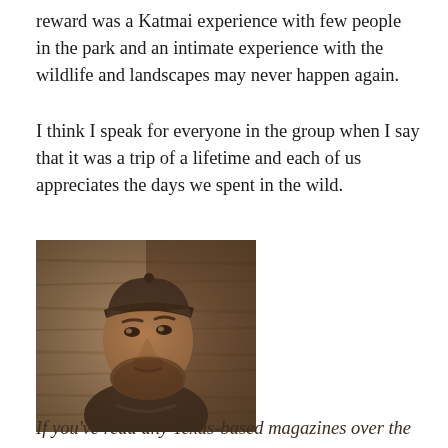reward was a Katmai experience with few people in the park and an intimate experience with the wildlife and landscapes may never happen again.
I think I speak for everyone in the group when I say that it was a trip of a lifetime and each of us appreciates the days we spent in the wild.
[Figure (photo): Sepia-toned portrait photograph of a bearded man wearing a baseball cap, looking slightly to the side, with a wooden background.]
If you've read any Texas-based magazines over the